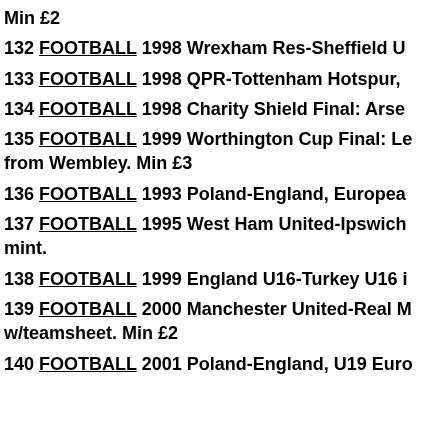Min £2
132 FOOTBALL 1998 Wrexham Res-Sheffield U...
133 FOOTBALL 1998 QPR-Tottenham Hotspur,...
134 FOOTBALL 1998 Charity Shield Final: Arse...
135 FOOTBALL 1999 Worthington Cup Final: Le... from Wembley. Min £3
136 FOOTBALL 1993 Poland-England, Europea...
137 FOOTBALL 1995 West Ham United-Ipswich... mint.
138 FOOTBALL 1999 England U16-Turkey U16 i...
139 FOOTBALL 2000 Manchester United-Real M... w/teamsheet. Min £2
140 FOOTBALL 2001 Poland-England, U19 Euro...